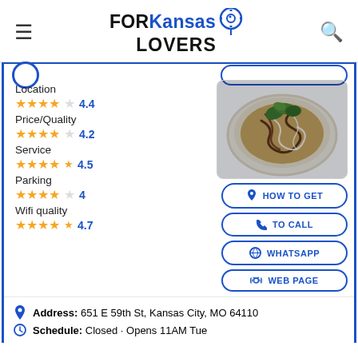FOR Kansas LOVERS
Location ★★★★☆ 4.4
Price/Quality ★★★★☆ 4.2
Service ★★★★½ 4.5
Parking ★★★★☆ 4
Wifi quality ★★★★½ 4.7
[Figure (photo): Photo of a plated dish with greens and sauce on a white plate]
HOW TO GET
TO CALL
WHATSAPP
WEB PAGE
Address: 651 E 59th St, Kansas City, MO 64110
Schedule: Closed · Opens 11AM Tue